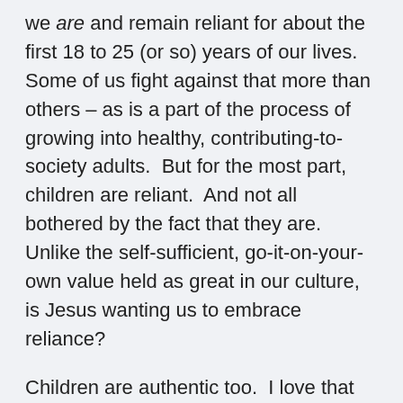we are and remain reliant for about the first 18 to 25 (or so) years of our lives.  Some of us fight against that more than others – as is a part of the process of growing into healthy, contributing-to-society adults.  But for the most part, children are reliant.  And not all bothered by the fact that they are.  Unlike the self-sufficient, go-it-on-your-own value held as great in our culture, is Jesus wanting us to embrace reliance?
Children are authentic too.  I love that about them!  They haven't yet learned of the social masks the world wants us to wear.  They just are themselves.  Whether bashful or bombastic; ready to take on the world or more observers of all the action; children don't know yet how to hide who they truly are.  Think of a baby.  When they are hungry, they cry.  When